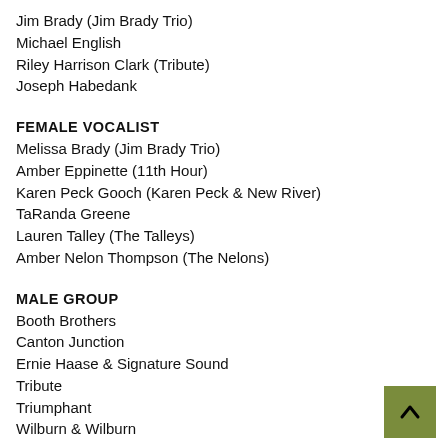Jim Brady (Jim Brady Trio)
Michael English
Riley Harrison Clark (Tribute)
Joseph Habedank
FEMALE VOCALIST
Melissa Brady (Jim Brady Trio)
Amber Eppinette (11th Hour)
Karen Peck Gooch (Karen Peck & New River)
TaRanda Greene
Lauren Talley (The Talleys)
Amber Nelon Thompson (The Nelons)
MALE GROUP
Booth Brothers
Canton Junction
Ernie Haase & Signature Sound
Tribute
Triumphant
Wilburn & Wilburn